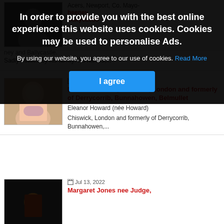[Figure (screenshot): Cookie consent overlay on a news/obituaries website. Overlay text reads: 'In order to provide you with the best online experience this website uses cookies. Cookies may be used to personalise Ads.' followed by 'By using our website, you agree to our use of cookies. Read More' and a blue 'I agree' button. Behind the overlay are listing items with dates Jul 13, 2022.]
In order to provide you with the best online experience this website uses cookies. Cookies may be used to personalise Ads.
By using our website, you agree to our use of cookies. Read More
I agree
Acers, Newport, Co. Mayo-
heeney, Ballycastle
Sadly missed by his family: his nieces,...
Jul 13, 2022
Eleanor Howard, Chiswick, London and formerly of Derrycorrib, Bunnahowen, Belmullet
Eleanor Howard (née Howard)
Chiswick, London and formerly of Derrycorrib, Bunnahowen,...
Jul 13, 2022
Margaret Jones nee Judge,